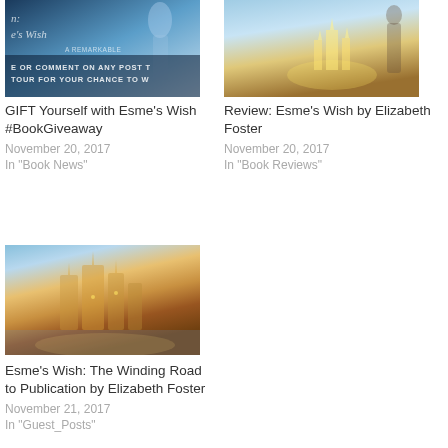[Figure (photo): Book cover for Esme's Wish giveaway – dark blue fantasy illustration with text overlay: 'A REMARKABLE... / OR COMMENT ON ANY POST... / TOUR FOR YOUR CHANCE TO W...']
GIFT Yourself with Esme's Wish #BookGiveaway
November 20, 2017
In "Book News"
[Figure (photo): Book cover for Esme's Wish review – fantasy illustration with a female figure and glowing castle/city in background]
Review: Esme's Wish by Elizabeth Foster
November 20, 2017
In "Book Reviews"
[Figure (photo): Fantasy castle/city illustration with warm orange, gold, and blue tones – blurred painterly style]
Esme's Wish: The Winding Road to Publication by Elizabeth Foster
November 21, 2017
In "Guest_Posts"